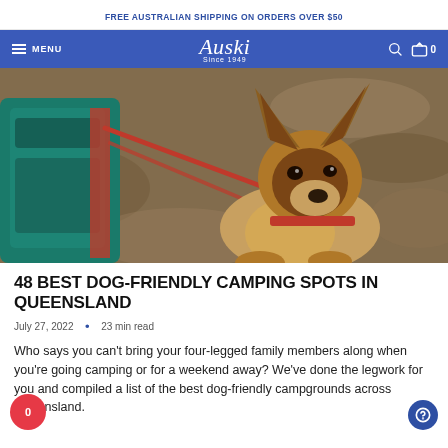FREE AUSTRALIAN SHIPPING ON ORDERS OVER $50
Auski Since 1949 — MENU — navigation bar
[Figure (photo): German Shepherd dog on a red leash looking up at the camera, sitting on rocky ground near a teal camping backpack]
48 BEST DOG-FRIENDLY CAMPING SPOTS IN QUEENSLAND
July 27, 2022 • 23 min read
Who says you can't bring your four-legged family members along when you're going camping or for a weekend away? We've done the legwork for you and compiled a list of the best dog-friendly campgrounds across Queensland.